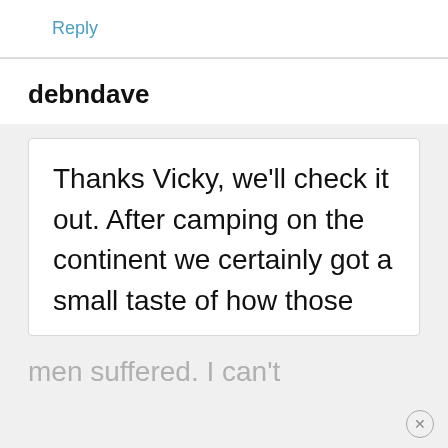Reply
debndave
Thanks Vicky, we'll check it out. After camping on the continent we certainly got a small taste of how those
men suffered. I can't